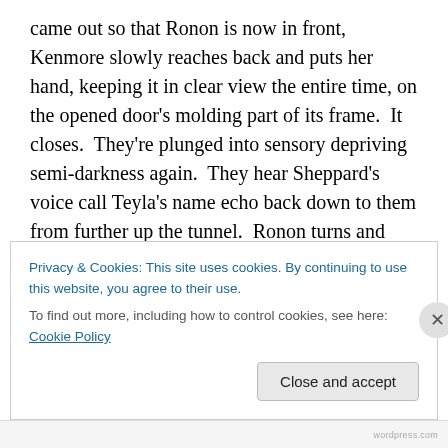came out so that Ronon is now in front, Kenmore slowly reaches back and puts her hand, keeping it in clear view the entire time, on the opened door's molding part of its frame.  It closes.  They're plunged into sensory depriving semi-darkness again.  They hear Sheppard's voice call Teyla's name echo back down to them from further up the tunnel.  Ronon turns and runs.  The spotlight comes back on in time for Kenmore to see the Satedan's quickly fleeing back re-disappear back into the darkness down the rest of the tunnel.  Kenmore sighs, again in exasperation, then casually walks after the racing Satedan.
Privacy & Cookies: This site uses cookies. By continuing to use this website, you agree to their use.
To find out more, including how to control cookies, see here: Cookie Policy
Close and accept